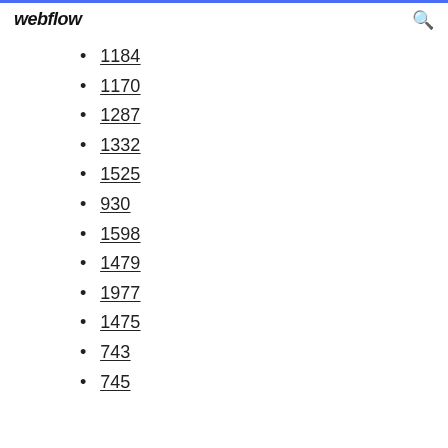webflow
1184
1170
1287
1332
1525
930
1598
1479
1977
1475
743
745